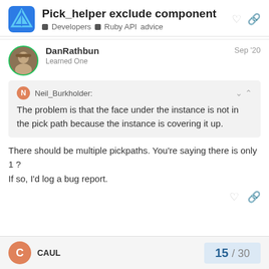Pick_helper exclude component
Developers  Ruby API  advice
DanRathbun  Learned One  Sep '20
Neil_Burkholder: The problem is that the face under the instance is not in the pick path because the instance is covering it up.
There should be multiple pickpaths. You're saying there is only 1 ?
If so, I'd log a bug report.
CAUL  15 / 30